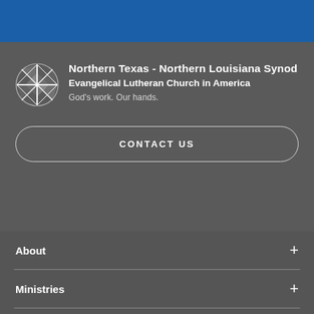[Figure (other): Blue decorative stripe / header banner at top of page]
[Figure (logo): Northern Texas - Northern Louisiana Synod ELCA circular cross logo in white on dark background]
Northern Texas - Northern Louisiana Synod
Evangelical Lutheran Church in America
God's work. Our hands.
CONTACT US
About +
Ministries +